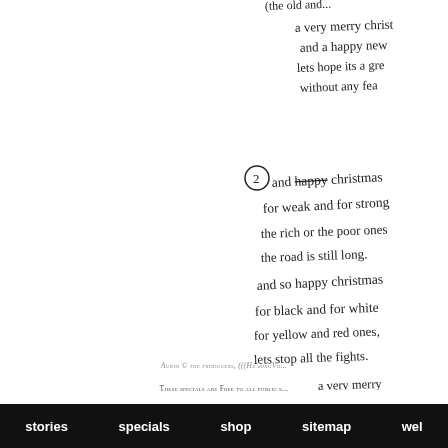[Figure (illustration): Handwritten lyrics/poem in cursive script, partially cropped on right side. Text includes: '(the old and...) / a very merry christ[mas] / and a happy new [year] / lets hope its a gre[at one] / without any fea[r] / (2) and so happy christmas / for weak and for strong / the rich or the poor ones / the road is still long. / and so happy christmas / for black and for white / for yellow and red ones, / lets stop all the fights. / a very merry [christmas] / and a happy [new year] / lets hope its [a great one] / without an[y fear]']
Audio © the producers, (((HearingVo...
These specials are Free to all public s...
stories | specials | shop | sitemap | wel...